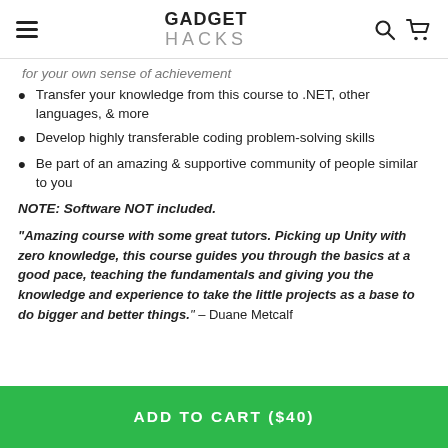GADGET HACKS
for your own sense of achievement
Transfer your knowledge from this course to .NET, other languages, & more
Develop highly transferable coding problem-solving skills
Be part of an amazing & supportive community of people similar to you
NOTE: Software NOT included.
"Amazing course with some great tutors. Picking up Unity with zero knowledge, this course guides you through the basics at a good pace, teaching the fundamentals and giving you the knowledge and experience to take the little projects as a base to do bigger and better things." – Duane Metcalf
ADD TO CART ($40)